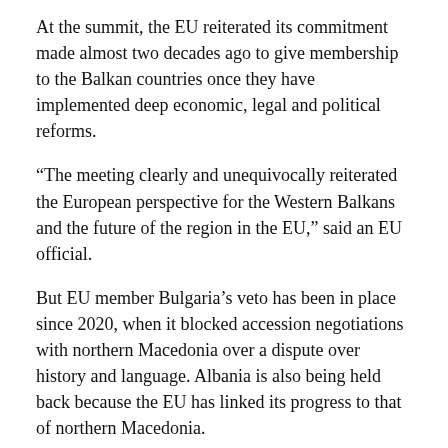At the summit, the EU reiterated its commitment made almost two decades ago to give membership to the Balkan countries once they have implemented deep economic, legal and political reforms.
“The meeting clearly and unequivocally reiterated the European perspective for the Western Balkans and the future of the region in the EU,” said an EU official.
But EU member Bulgaria’s veto has been in place since 2020, when it blocked accession negotiations with northern Macedonia over a dispute over history and language. Albania is also being held back because the EU has linked its progress to that of northern Macedonia.
‘IMPOTENCE’
Albanian Prime Minister Edi Rama said it was a “disgrace” and also accused EU leaders of “impotence” for not forcing Sofia to make concessions.